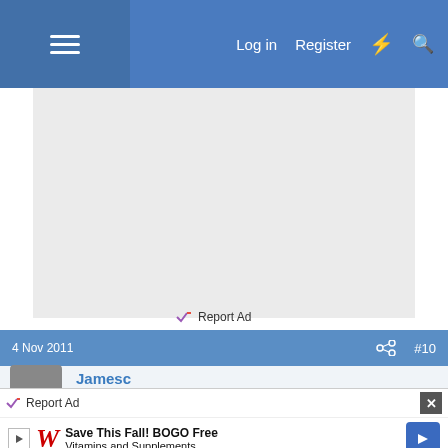Log in  Register
[Figure (screenshot): Empty advertisement area with light gray background]
Report Ad
4 Nov 2011  #10
Jamesc
[Figure (screenshot): Walgreens advertisement: Save This Fall! BOGO Free Vitamins and Supplements]
Report Ad